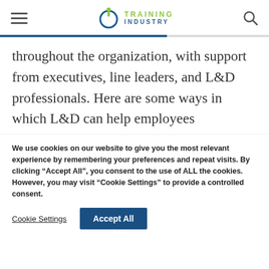Training Industry
throughout the organization, with support from executives, line leaders, and L&D professionals. Here are some ways in which L&D can help employees
We use cookies on our website to give you the most relevant experience by remembering your preferences and repeat visits. By clicking “Accept All”, you consent to the use of ALL the cookies. However, you may visit “Cookie Settings” to provide a controlled consent.
Cookie Settings | Accept All